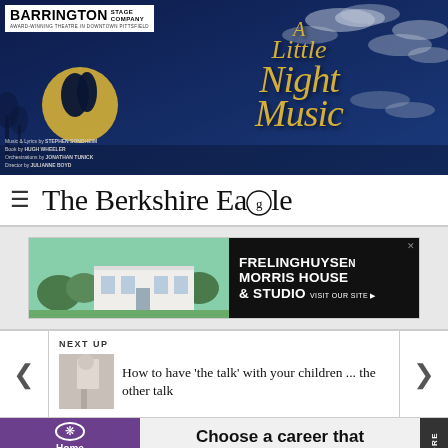[Figure (illustration): Barrington Stage Company banner advertisement for 'A Little Night Music' musical. Dark navy blue background with moon, silhouette of couple, clouds, and golden script title text. Credits: Music & Lyrics by Stephen Sondheim, Book by Hugh Wheeler, Orchestrations by Jonathan Tunick, Director Julianne Boyd.]
The Berkshire Eagle
[Figure (photo): Frelinghuysen Morris House & Studio advertisement. Photo of white modernist building with greenery. Text reads: FRELINGHUYSEN MORRIS HOUSE & STUDIO VISIT OUR SITE.]
NEXT UP
How to have 'the talk' with your children ... the other talk
[Figure (photo): Home Instead advertisement. Logo on purple background. Text: Choose a career that makes a difference. MORE tab on right side.]